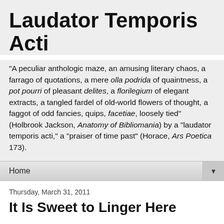Laudator Temporis Acti
"A peculiar anthologic maze, an amusing literary chaos, a farrago of quotations, a mere olla podrida of quaintness, a pot pourri of pleasant delites, a florilegium of elegant extracts, a tangled fardel of old-world flowers of thought, a faggot of odd fancies, quips, facetiae, loosely tied" (Holbrook Jackson, Anatomy of Bibliomania) by a "laudator temporis acti," a "praiser of time past" (Horace, Ars Poetica 173).
Home
Thursday, March 31, 2011
It Is Sweet to Linger Here
William Cullen Bryant (1794-1878), The Antiquity of Freedom, lines 1-9:
Here are old trees, tall oaks and gnarled pines,
That stream with gray-green mosses; here the ground